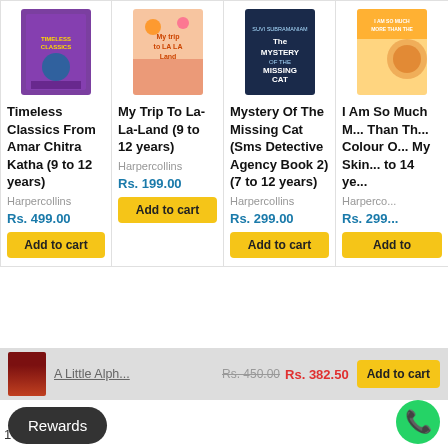[Figure (illustration): Book cover: Timeless Classics From Amar Chitra Katha, purple box set]
Timeless Classics From Amar Chitra Katha (9 to 12 years)
Harpercollins
Rs. 499.00
[Figure (illustration): Book cover: My Trip To La-La-Land]
My Trip To La-La-Land (9 to 12 years)
Harpercollins
Rs. 199.00
[Figure (illustration): Book cover: Mystery Of The Missing Cat]
Mystery Of The Missing Cat (Sms Detective Agency Book 2) (7 to 12 years)
Harpercollins
Rs. 299.00
[Figure (illustration): Book cover: I Am So Much More Than The Colour Of My Skin (partial)]
I Am So Much M... Than Th... Colour O... My Skin... to 14 ye...
Harperco...
Rs. 299...
A Little Alph...
Rs. 450.00
Rs. 382.50
Add to cart
Rewards
1